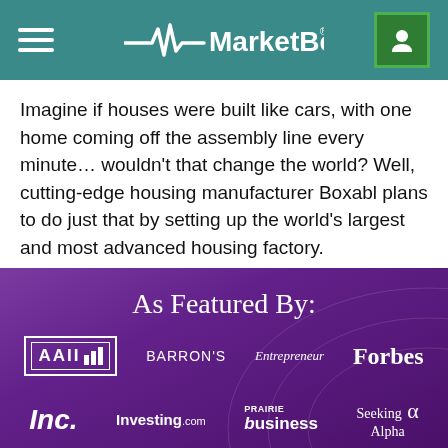MarketBeat
Imagine if houses were built like cars, with one home coming off the assembly line every minute… wouldn't that change the world? Well, cutting-edge housing manufacturer Boxabl plans to do just that by setting up the world's largest and most advanced housing factory.
As Featured By:
[Figure (logo): Logos of media outlets: AAII, BARRON'S, Entrepreneur, Forbes, Inc., Investing.com, Prairie Business, Seeking Alpha on purple background]